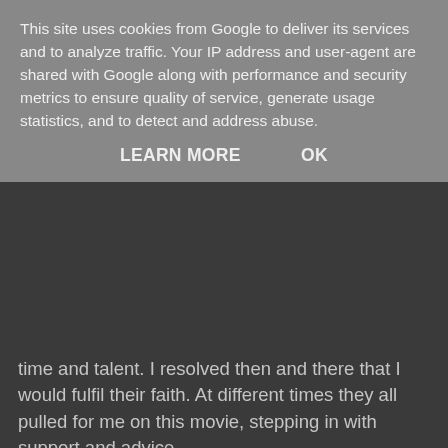This site uses cookies from Google to deliver its services and to analyze traffic. Your IP address and user-agent are shared with Google along with performance and security metrics to ensure quality of service, generate usage statistics, and to detect and address abuse.
LEARN MORE    OK
time and talent. I resolved then and there that I would fulfil their faith. At different times they all pulled for me on this movie, stepping in with support and advice.
[Figure (photo): Two women smiling and posing together in front of a white van outdoors. One woman has dark wavy hair wearing a black top, the other is older with short white hair wearing a striped shirt and gray cardigan.]
Packaging a film project involves constant meetings, film markets and travelling. Step by step I built the team. By the time we got into production, my daughter Gemma had